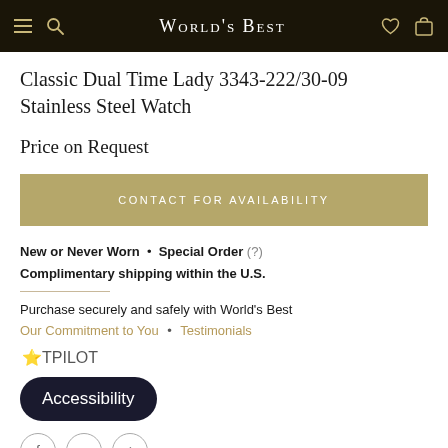World's Best
Classic Dual Time Lady 3343-222/30-09 Stainless Steel Watch
Price on Request
CONTACT FOR AVAILABILITY
New or Never Worn • Special Order (?) Complimentary shipping within the U.S.
Purchase securely and safely with World's Best
Our Commitment to You • Testimonials
STPILOT
Accessibility